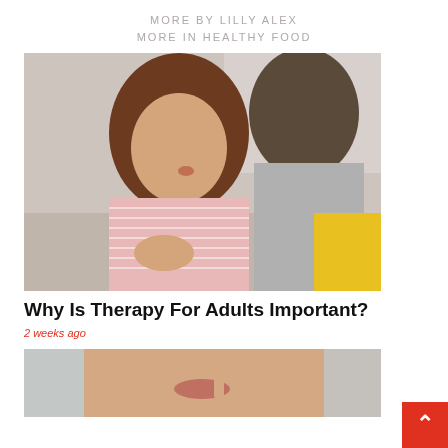MORE BY LILLY ALEX
MORE IN HEALTHY FOOD
[Figure (photo): A young girl in a pink striped shirt talking to an adult with curly hair, in a therapy or counseling session setting.]
Why Is Therapy For Adults Important?
2 weeks ago
[Figure (photo): Close-up of a woman's lower face, appearing thoughtful or concerned, with a blurred background.]